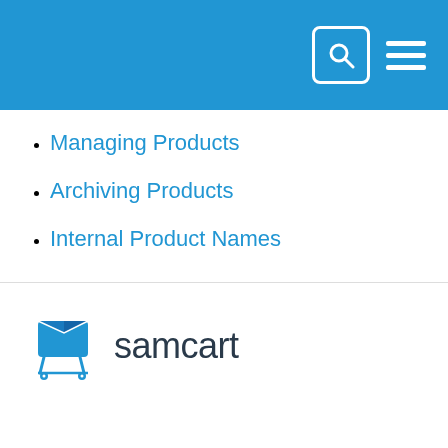Managing Products
Archiving Products
Internal Product Names
[Figure (logo): SamCart logo — blue shopping cart icon with 'samcart' text in dark navy]